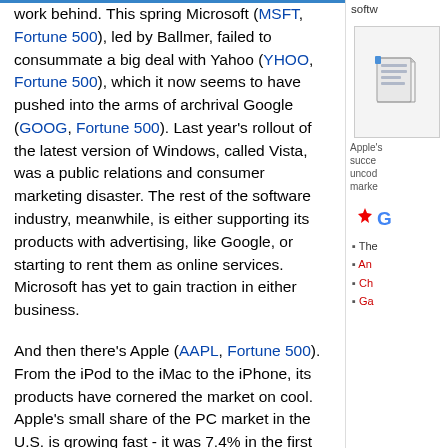work behind. This spring Microsoft (MSFT, Fortune 500), led by Ballmer, failed to consummate a big deal with Yahoo (YHOO, Fortune 500), which it now seems to have pushed into the arms of archrival Google (GOOG, Fortune 500). Last year's rollout of the latest version of Windows, called Vista, was a public relations and consumer marketing disaster. The rest of the software industry, meanwhile, is either supporting its products with advertising, like Google, or starting to rent them as online services. Microsoft has yet to gain traction in either business.
And then there's Apple (AAPL, Fortune 500). From the iPod to the iMac to the iPhone, its products have cornered the market on cool. Apple's small share of the PC market in the U.S. is growing fast - it was 7.4% in the first quarter of 2008, up from 5.1% a year earlier, according to International Data Corp. (IDC). Perhaps even more alarming, its ubiquitous "Get a Mac" TV ads have painted the personal computer loaded with Windows software - the central achievement of Gates' 33 years at Microsoft - as a loser. To a lot of consumers out there, Microsoft really
softw
[Figure (illustration): Small document/image icon in right sidebar]
Apple's success uncod marke
[Figure (logo): Colorful logo (appears to be Yelp/Google style logo) in right sidebar]
The
An
Ch
Ga